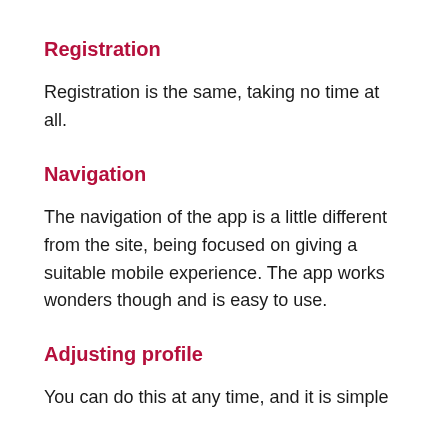Registration
Registration is the same, taking no time at all.
Navigation
The navigation of the app is a little different from the site, being focused on giving a suitable mobile experience. The app works wonders though and is easy to use.
Adjusting profile
You can do this at any time, and it is simple